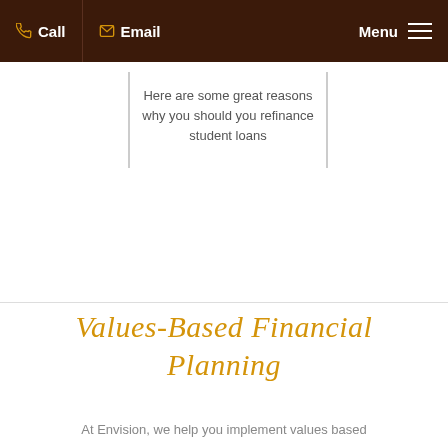Call  Email  Menu
Here are some great reasons why you should you refinance student loans
Values-Based Financial Planning
At Envision, we help you implement values based